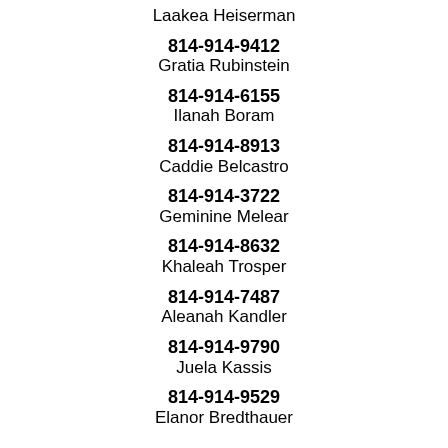Laakea Heiserman
814-914-9412
Gratia Rubinstein
814-914-6155
Ilanah Boram
814-914-8913
Caddie Belcastro
814-914-3722
Geminine Melear
814-914-8632
Khaleah Trosper
814-914-7487
Aleanah Kandler
814-914-9790
Juela Kassis
814-914-9529
Elanor Bredthauer